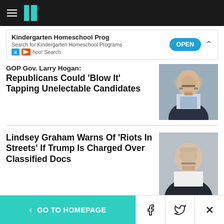HuffPost navigation header
Kindergarten Homeschool Prog
Search for Kindergarten Homeschool Programs
Yahoo! Search
OPEN
GOP Gov. Larry Hogan: Republicans Could 'Blow It' Tapping Unelectable Candidates
[Figure (photo): Headshot of a man in a suit with glasses and a blue tie, looking at camera]
Lindsey Graham Warns Of 'Riots In Streets' If Trump Is Charged Over Classified Docs
[Figure (photo): Close-up headshot of Lindsey Graham looking serious, wearing dark suit and white shirt]
< GO TO HOMEPAGE  [Facebook] [Twitter] [X]